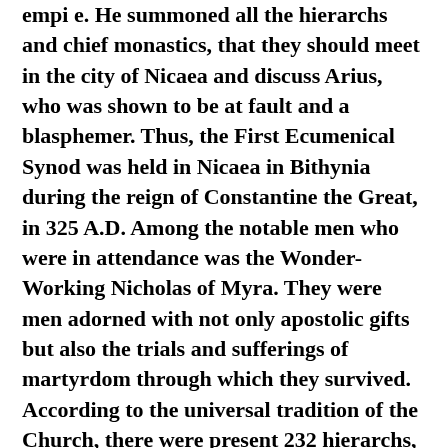empi e. He summoned all the hierarchs and chief monastics, that they should meet in the city of Nicaea and discuss Arius, who was shown to be at fault and a blasphemer. Thus, the First Ecumenical Synod was held in Nicaea in Bithynia during the reign of Constantine the Great, in 325 A.D. Among the notable men who were in attendance was the Wonder-Working Nicholas of Myra. They were men adorned with not only apostolic gifts but also the trials and sufferings of martyrdom through which they survived. According to the universal tradition of the Church, there were present 232 hierarchs, with 86 priests, 3 deacons, and monks, thus totaling 318 holy Fathers, together with a multitude of the lower clergy.